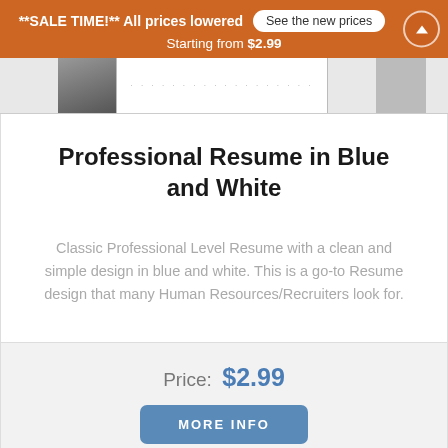**SALE TIME!** All prices lowered   See the new prices   Starting from $2.99
[Figure (screenshot): Partial preview of a resume document in blue and white, showing top edge of the resume template]
Professional Resume in Blue and White
Classic Professional Level Resume with a clean and simple design in blue and white. This is a go-to Resume design that many Human Resources/Recruiters look for.
Price:  $2.99
MORE INFO